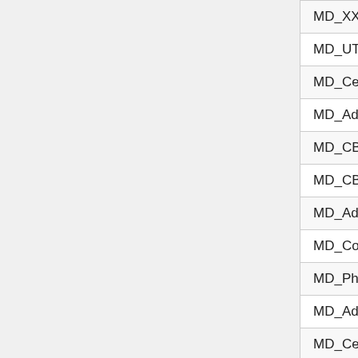| Field Name | Value |
| --- | --- |
| MD_UTC | 6 |
| MD_CensusTract | 6 |
| MD_AddressPreDirection | 5 |
| MD_CBSADivisionCode | 5 |
| MD_CBSACode | 5 |
| MD_AddressPostDirection | 5 |
| MD_CountyFIPS | 5 |
| MD_PhoneSuffix | 4 |
| MD_AddressHouseNumber | 4 |
| MD_CensusBlock | 4 |
| MD_CarrierRoute | 4 |
| MD_Plus4 | 4 |
| MD_PhonePrefix | 3 |
| MD_AreaCode | 3 |
| MD_NewAreaCode | 3 |